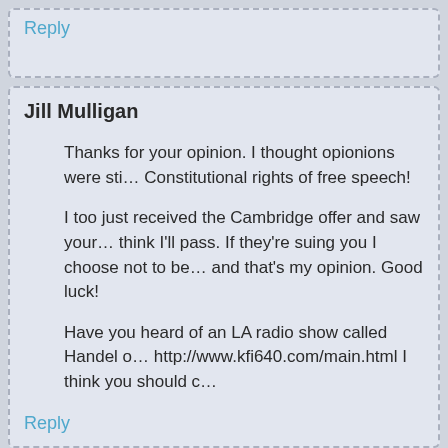Reply
Jill Mulligan
Thanks for your opinion. I thought opionions were sti... Constitutional rights of free speech!
I too just received the Cambridge offer and saw your... think I'll pass. If they're suing you I choose not to be... and that's my opinion. Good luck!
Have you heard of an LA radio show called Handel o... http://www.kfi640.com/main.html I think you should c...
Reply